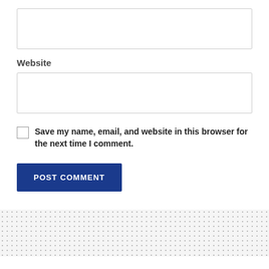[Figure (screenshot): Empty text input box for a form field]
Website
[Figure (screenshot): Empty text input box for Website field]
Save my name, email, and website in this browser for the next time I comment.
POST COMMENT
Home › Business News › Coronavirus
South African study shows